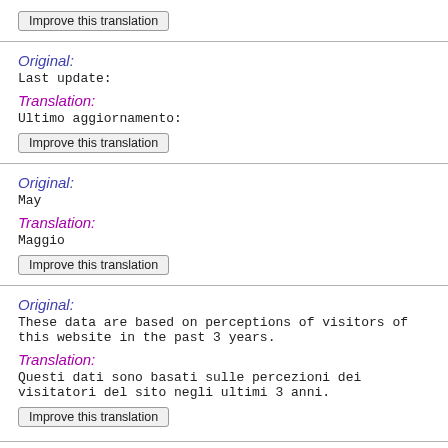Improve this translation
Original:
Last update:
Translation:
Ultimo aggiornamento:
Improve this translation
Original:
May
Translation:
Maggio
Improve this translation
Original:
These data are based on perceptions of visitors of this website in the past 3 years.
Translation:
Questi dati sono basati sulle percezioni dei visitatori del sito negli ultimi 3 anni.
Improve this translation